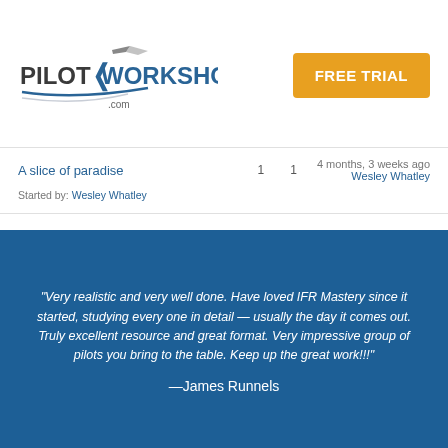[Figure (logo): Pilot Workshops .com logo with airplane icon and blue swoosh]
FREE TRIAL
| Topic | Replies | Views | Last Post |
| --- | --- | --- | --- |
| A slice of paradise
Started by: Wesley Whatley | 1 | 1 | 4 months, 3 weeks ago
Wesley Whatley |
"Very realistic and very well done. Have loved IFR Mastery since it started, studying every one in detail — usually the day it comes out. Truly excellent resource and great format. Very impressive group of pilots you bring to the table. Keep up the great work!!!"
—James Runnels